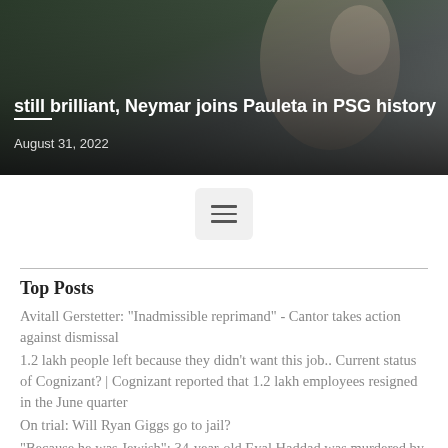[Figure (photo): Hero image of a soccer player (Neymar) in action, with overlaid headline text and date on a dark background]
still brilliant, Neymar joins Pauleta in PSG history
August 31, 2022
[Figure (other): Hamburger menu button icon with three horizontal lines]
Top Posts
Avitall Gerstetter: "Inadmissible reprimand" - Cantor takes action against dismissal
1.2 lakh people left because they didn't want this job.. Current status of Cognizant? | Cognizant reported that 1.2 lakh employees resigned in the June quarter
On trial: Will Ryan Giggs go to jail?
"Because he was Jewish": 34-year-old Eyal Haddad was murdered by his Muslim accomplice in France
Child porn content on Telegram tripled in 2021